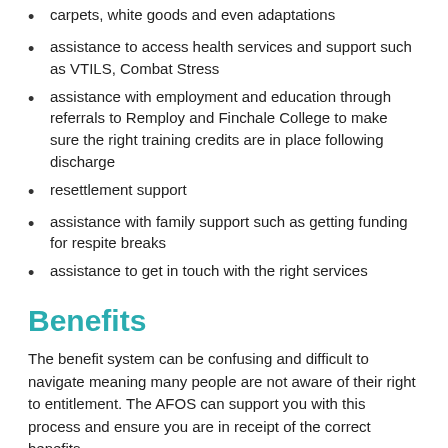carpets, white goods and even adaptations
assistance to access health services and support such as VTILS, Combat Stress
assistance with employment and education through referrals to Remploy and Finchale College to make sure the right training credits are in place following discharge
resettlement support
assistance with family support such as getting funding for respite breaks
assistance to get in touch with the right services
Benefits
The benefit system can be confusing and difficult to navigate meaning many people are not aware of their right to entitlement. The AFOS can support you with this process and ensure you are in receipt of the correct benefits.